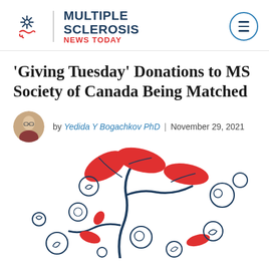Multiple Sclerosis News Today
'Giving Tuesday' Donations to MS Society of Canada Being Matched
by Yedida Y Bogachkov PhD | November 29, 2021
[Figure (illustration): Illustration of a plant growing with red leaves and coins/currency circles floating around it, representing charitable giving and donations growing.]